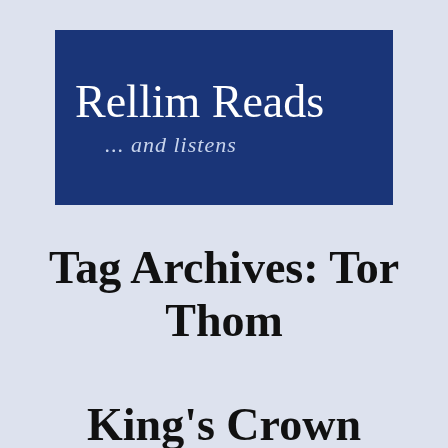[Figure (logo): Rellim Reads logo: dark navy blue rectangular banner with white serif text 'Rellim Reads' and italic subtitle '... and listens' in light blue]
Tag Archives: Tor Thom
King's Crown